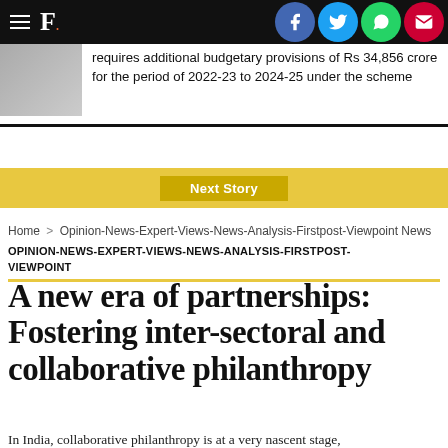F. [Firstpost logo with hamburger menu and social share icons]
requires additional budgetary provisions of Rs 34,856 crore for the period of 2022-23 to 2024-25 under the scheme
Next Story
Home > Opinion-News-Expert-Views-News-Analysis-Firstpost-Viewpoint News
OPINION-NEWS-EXPERT-VIEWS-NEWS-ANALYSIS-FIRSTPOST-VIEWPOINT
A new era of partnerships: Fostering inter-sectoral and collaborative philanthropy
In India, collaborative philanthropy is at a very nascent stage,